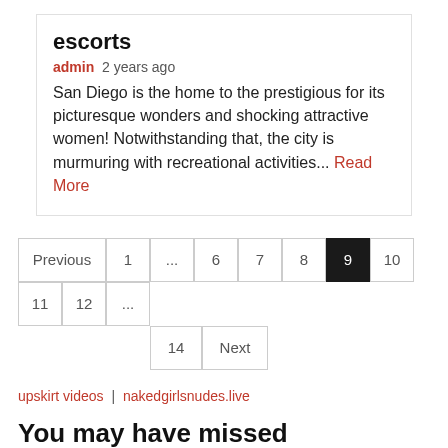escorts
admin  2 years ago
San Diego is the home to the prestigious for its picturesque wonders and shocking attractive women! Notwithstanding that, the city is murmuring with recreational activities... Read More
Previous  1  ...  6  7  8  9  10  11  12  ...  14  Next
upskirt videos | nakedgirlsnudes.live
You may have missed
[Figure (other): Partially visible image placeholder at bottom of page]